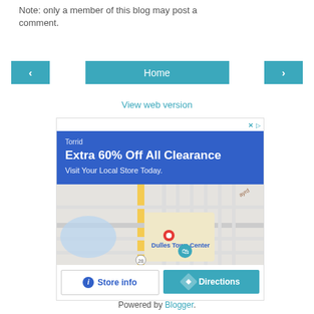Note: only a member of this blog may post a comment.
[Figure (screenshot): Navigation row with left arrow button, Home button, and right arrow button in teal/blue color scheme]
View web version
[Figure (screenshot): Advertisement for Torrid store: 'Extra 60% Off All Clearance. Visit Your Local Store Today.' with map showing Dulles Town Center location and Store info / Directions buttons]
Powered by Blogger.